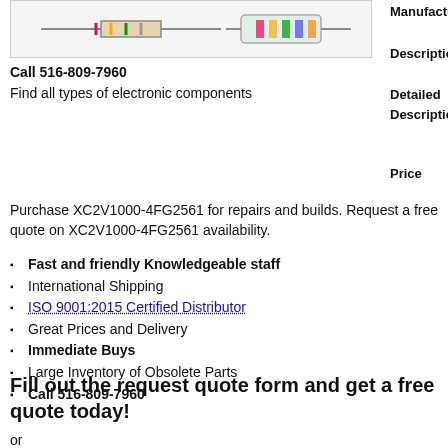[Figure (photo): Product image of electronic component (resistor/capacitor) against white background]
Call 516-809-7960
Find all types of electronic components
Manufacturer
Description
Detailed Description
Price
Purchase XC2V1000-4FG2561 for repairs and builds. Request a free quote on XC2V1000-4FG2561 availability.
Fast and friendly Knowledgeable staff
International Shipping
ISO 9001:2015 Certified Distributor
Great Prices and Delivery
Immediate Buys
Large Inventory of Obsolete Parts
Call 516-809-7960
Fill out the request quote form and get a free quote today!
or